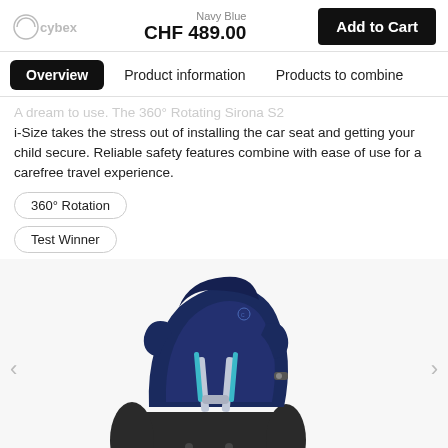cybex | Navy Blue | CHF 489.00 | Add to Cart
Overview  Product information  Products to combine
i-Size takes the stress out of installing the car seat and getting your child secure. Reliable safety features combine with ease of use for a carefree travel experience.
360° Rotation
Test Winner
[Figure (photo): Navy Blue cybex 360° rotating car seat (i-Size) shown in product image with dark base and navy blue upholstery with teal/silver harness straps]